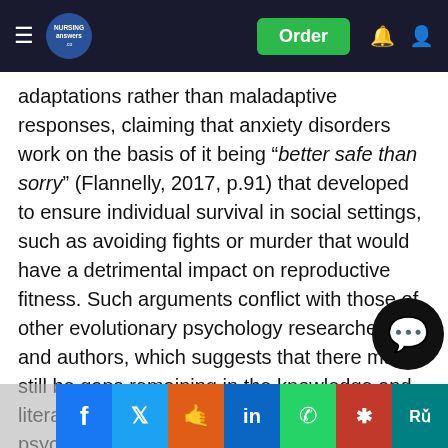Nursing Answers — Navigation bar with hamburger menu, logo, Order button, notification and user icons
adaptations rather than maladaptive responses, claiming that anxiety disorders work on the basis of it being "better safe than sorry" (Flannelly, 2017, p.91) that developed to ensure individual survival in social settings, such as avoiding fights or murder that would have a detrimental impact on reproductive fitness. Such arguments conflict with those of other evolutionary psychology researchers and authors, which suggests that there may still be gaps remaining in the knowledge and literature concerning the evolutionary psychological explanations of anxiety disorders. Likewise, this is likely to mean that it is difficult for evolutionary psychology to provide information for the treatment of anxiety disorders. Consequently, future research from evolutionary psychology should aim to resolve this conflicting and contradictory arguments and research e... ensive account of the function and/or evolution of anxiety
Social share bar: Facebook, Twitter, Reddit, LinkedIn, WhatsApp, Mendeley, ResearchGate